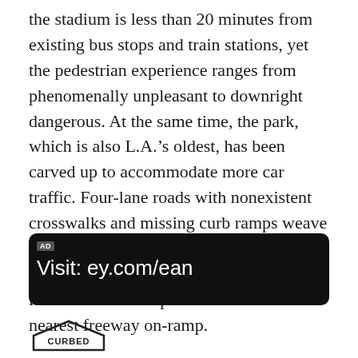the stadium is less than 20 minutes from existing bus stops and train stations, yet the pedestrian experience ranges from phenomenally unpleasant to downright dangerous. At the same time, the park, which is also L.A.'s oldest, has been carved up to accommodate more car traffic. Four-lane roads with nonexistent crosswalks and missing curb ramps weave around playgrounds and picnic areas, a reminder that it’s not as much of a park as it is a well-landscaped extension of the nearest freeway on-ramp.
[Figure (other): Dark advertisement banner with 'AD' label and text 'Visit: ey.com/ean']
[Figure (logo): Curbed logo — house-shaped outline with the word CURBED inside]